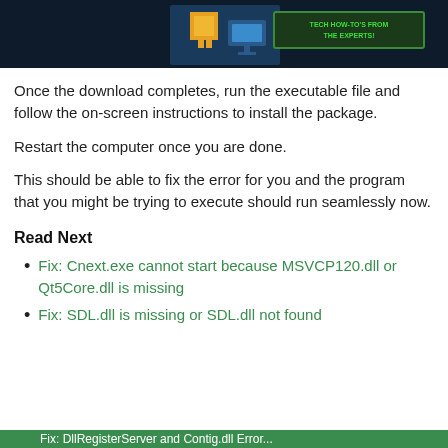[Figure (screenshot): Top banner image with dark blue background, pixel art style graphic and text 'TECH HOW-TO'S FROM THE EXPERTS!']
Once the download completes, run the executable file and follow the on-screen instructions to install the package.
Restart the computer once you are done.
This should be able to fix the error for you and the program that you might be trying to execute should run seamlessly now.
Read Next
Fix: Cnext.exe cannot start because MSVCP120.dll or Qt5Core.dll is missing
Fix: SDL.dll is missing or SDL.dll not found
Fix: DllRegisterServer and Contig.dll Error...